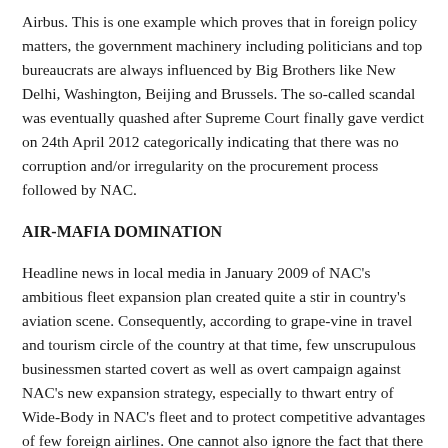Airbus. This is one example which proves that in foreign policy matters, the government machinery including politicians and top bureaucrats are always influenced by Big Brothers like New Delhi, Washington, Beijing and Brussels. The so-called scandal was eventually quashed after Supreme Court finally gave verdict on 24th April 2012 categorically indicating that there was no corruption and/or irregularity on the procurement process followed by NAC.
AIR-MAFIA DOMINATION
Headline news in local media in January 2009 of NAC's ambitious fleet expansion plan created quite a stir in country's aviation scene. Consequently, according to grape-vine in travel and tourism circle of the country at that time, few unscrupulous businessmen started covert as well as overt campaign against NAC's new expansion strategy, especially to thwart entry of Wide-Body in NAC's fleet and to protect competitive advantages of few foreign airlines. One cannot also ignore the fact that there is possibility of situation